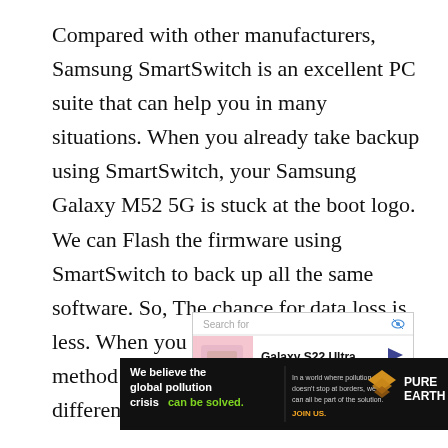Compared with other manufacturers, Samsung SmartSwitch is an excellent PC suite that can help you in many situations. When you already take backup using SmartSwitch, your Samsung Galaxy M52 5G is stuck at the boot logo. We can Flash the firmware using SmartSwitch to back up all the same software. So, The chance for data loss is less. When you don't have a backup, this method will not help you. You can move differently.
[Figure (screenshot): Advertisement showing a search bar with 'Search for' placeholder text and an eye icon, below which is a Galaxy S22 Ultra ad with a phone image and Samsung branding arrow]
[Figure (screenshot): Banner advertisement for Pure Earth with text 'We believe the global pollution crisis can be solved.' on black background with green text for 'can be solved.' and orange JOIN US. text, Pure Earth logo with diamond/mountain icon on right]